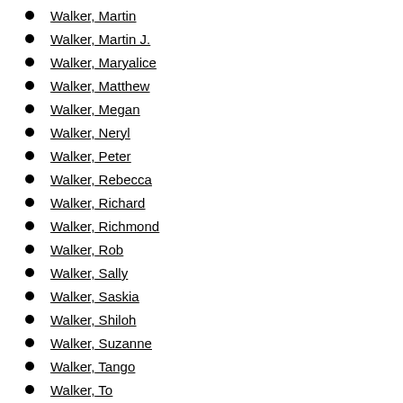Walker, Martin
Walker, Martin J.
Walker, Maryalice
Walker, Matthew
Walker, Megan
Walker, Neryl
Walker, Peter
Walker, Rebecca
Walker, Richard
Walker, Richmond
Walker, Rob
Walker, Sally
Walker, Saskia
Walker, Shiloh
Walker, Suzanne
Walker, Tango
Walker, Todd